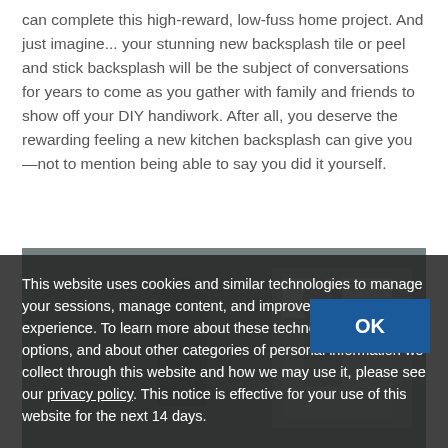can complete this high-reward, low-fuss home project. And just imagine... your stunning new backsplash tile or peel and stick backsplash will be the subject of conversations for years to come as you gather with family and friends to show off your DIY handiwork. After all, you deserve the rewarding feeling a new kitchen backsplash can give you—not to mention being able to say you did it yourself.
[Figure (photo): Photo of a kitchen area, partially visible behind a cookie consent overlay banner.]
This website uses cookies and similar technologies to manage your sessions, manage content, and improve your website experience. To learn more about these technologies, your options, and about other categories of personal information we collect through this website and how we may use it, please see our privacy policy. This notice is effective for your use of this website for the next 14 days.